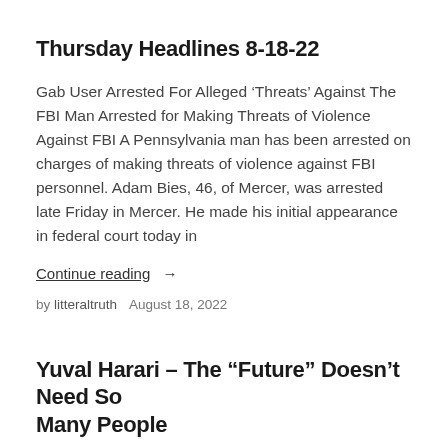Thursday Headlines 8-18-22
Gab User Arrested For Alleged ‘Threats’ Against The FBI Man Arrested for Making Threats of Violence Against FBI A Pennsylvania man has been arrested on charges of making threats of violence against FBI personnel. Adam Bies, 46, of Mercer, was arrested late Friday in Mercer. He made his initial appearance in federal court today in
Continue reading →
by litteraltruth   August 18, 2022
Yuval Harari – The “Future” Doesn’t Need So Many People